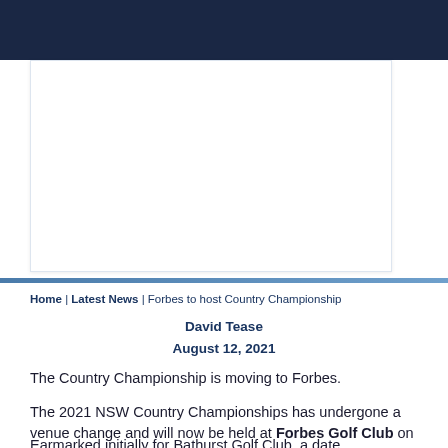Home | Latest News | Forbes to host Country Championship
David Tease
August 12, 2021
The Country Championship is moving to Forbes.
The 2021 NSW Country Championships has undergone a venue change and will now be held at Forbes Golf Club on November 6th & 7th.
Earmarked initially for Bathurst Golf Club, a date